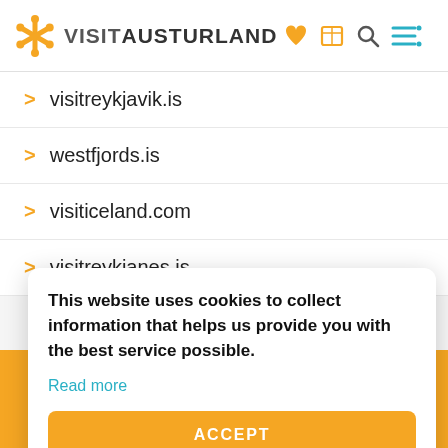VISITAUSTURLAND
visitreykjavik.is
westfjords.is
visiticeland.com
visitreykjanes.is
This website uses cookies to collect information that helps us provide you with the best service possible.
Read more
ACCEPT